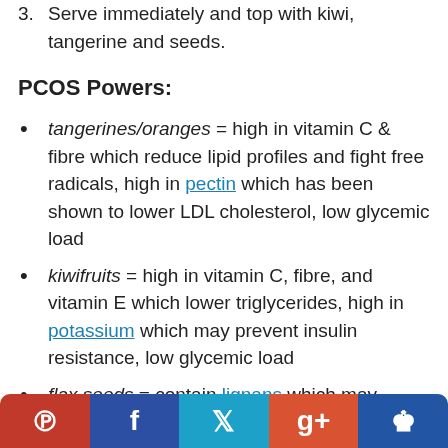3. Serve immediately and top with kiwi, tangerine and seeds.
PCOS Powers:
tangerines/oranges = high in vitamin C & fibre which reduce lipid profiles and fight free radicals, high in pectin which has been shown to lower LDL cholesterol, low glycemic load
kiwifruits = high in vitamin C, fibre, and vitamin E which lower triglycerides, high in potassium which may prevent insulin resistance, low glycemic load
flax seeds = contain lignans which may increase sex hormone-binding globulin and therefore lower